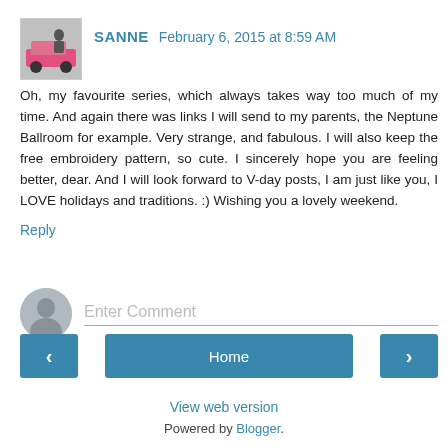[Figure (photo): Small avatar photo of a person standing next to a pink/red car]
SANNE  February 6, 2015 at 8:59 AM
Oh, my favourite series, which always takes way too much of my time. And again there was links I will send to my parents, the Neptune Ballroom for example. Very strange, and fabulous. I will also keep the free embroidery pattern, so cute. I sincerely hope you are feeling better, dear. And I will look forward to V-day posts, I am just like you, I LOVE holidays and traditions. :) Wishing you a lovely weekend.
Reply
[Figure (illustration): Generic user avatar icon (grey silhouette on grey circle background)]
Enter Comment
‹
Home
›
View web version
Powered by Blogger.